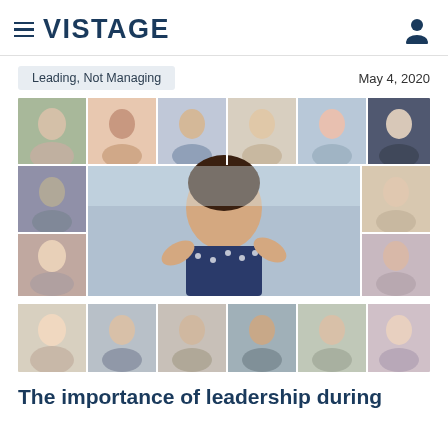VISTAGE
Leading, Not Managing
May 4, 2020
[Figure (photo): Video conference grid showing multiple people in a virtual meeting, with a central larger panel featuring a woman in a polka dot top gesturing with her hands, surrounded by smaller portrait panels of diverse people smiling.]
The importance of leadership during